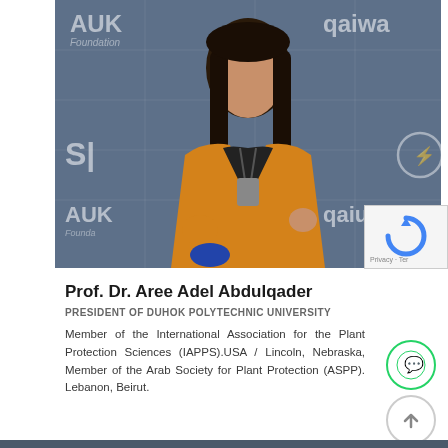[Figure (photo): Professional photo of Prof. Dr. Aree Adel Abdulqader standing in front of a blue banner backdrop with AUK Foundation and qaiwa logos. She is wearing an orange/mustard blazer over a patterned top with a lanyard badge.]
Prof. Dr. Aree Adel Abdulqader
PRESIDENT OF DUHOK POLYTECHNIC UNIVERSITY
Member of the International Association for the Plant Protection Sciences (IAPPS).USA / Lincoln, Nebraska, Member of the Arab Society for Plant Protection (ASPP). Lebanon, Beirut.